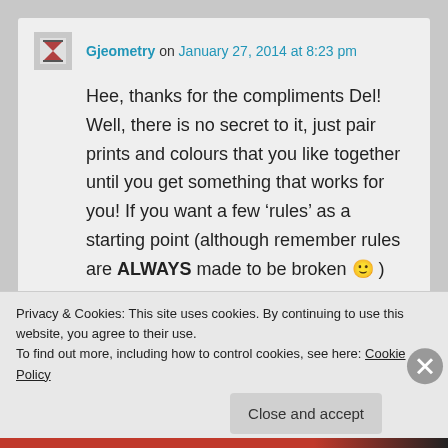Gjeometry on January 27, 2014 at 8:23 pm
Hee, thanks for the compliments Del! Well, there is no secret to it, just pair prints and colours that you like together until you get something that works for you! If you want a few ‘rules’ as a starting point (although remember rules are ALWAYS made to be broken 🙂 ) here is a link: http://www.thefashionspot.com/style-
Privacy & Cookies: This site uses cookies. By continuing to use this website, you agree to their use. To find out more, including how to control cookies, see here: Cookie Policy
Close and accept